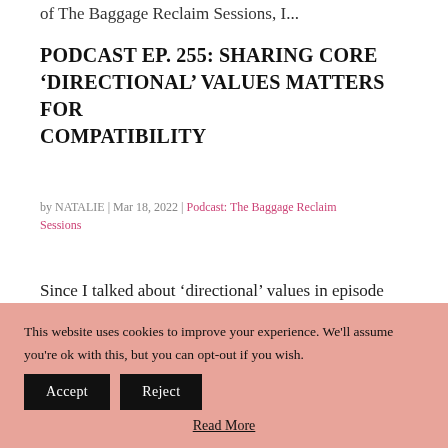of The Baggage Reclaim Sessions, I...
PODCAST EP. 255: SHARING CORE 'DIRECTIONAL' VALUES MATTERS FOR COMPATIBILITY
by NATALIE | Mar 18, 2022 | Podcast: The Baggage Reclaim Sessions
Since I talked about ‘directional’ values in episode 209, The Compatibility Factor, I’ve received lots of requests to dive deeper into this topic. And it makes sense because, as I
This website uses cookies to improve your experience. We'll assume you're ok with this, but you can opt-out if you wish. Accept Reject Read More